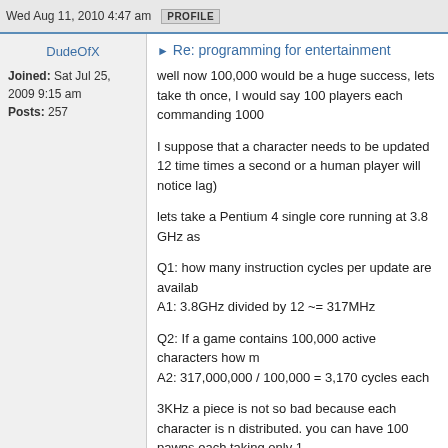Wed Aug 11, 2010 4:47 am   PROFILE
DudeOfX
Joined: Sat Jul 25, 2009 9:15 am
Posts: 257
Re: programming for entertainment
well now 100,000 would be a huge success, lets take th once, I would say 100 players each commanding 1000
I suppose that a character needs to be updated 12 time times a second or a human player will notice lag)
lets take a Pentium 4 single core running at 3.8 GHz as
Q1: how many instruction cycles per update are availab A1: 3.8GHz divided by 12 ~= 317MHz
Q2: If a game contains 100,000 active characters how m A2: 317,000,000 / 100,000 = 3,170 cycles each
3KHz a piece is not so bad because each character is n distributed. you can have 100 pawns each taking only 1
The system can devote another CPU core for communi core P4 3.8GHz
-------------------------
Lets talk ram usage... lets devote 1GB of RAM for per i sounds sufficient...